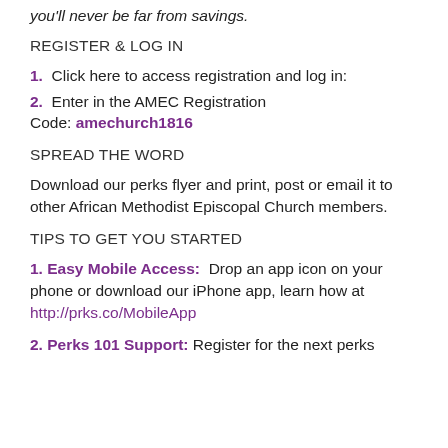you'll never be far from savings.
REGISTER & LOG IN
1.  Click here to access registration and log in:
2.  Enter in the AMEC Registration Code: amechurch1816
SPREAD THE WORD
Download our perks flyer and print, post or email it to other African Methodist Episcopal Church members.
TIPS TO GET YOU STARTED
1. Easy Mobile Access:  Drop an app icon on your phone or download our iPhone app, learn how at http://prks.co/MobileApp
2. Perks 101 Support: Register for the next perks